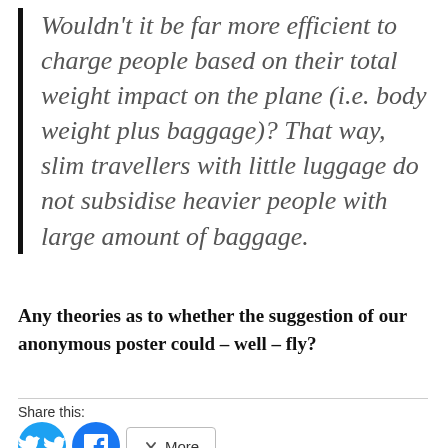Wouldn't it be far more efficient to charge people based on their total weight impact on the plane (i.e. body weight plus baggage)? That way, slim travellers with little luggage do not subsidise heavier people with large amount of baggage.
Any theories as to whether the suggestion of our anonymous poster could – well – fly?
Share this: